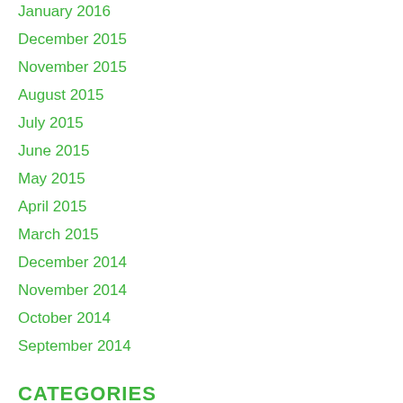January 2016
December 2015
November 2015
August 2015
July 2015
June 2015
May 2015
April 2015
March 2015
December 2014
November 2014
October 2014
September 2014
CATEGORIES
All
Careers